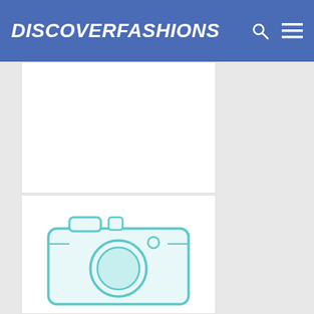DISCOVERFASHIONS
PROFESSIONAL BLUSH BRUSH / EYESHADOW BRUSH / LIP BRUSH
Category:Eyeliner Brush,Lip Brush,Eyeshadow Brush,Blush
AU$19.49  AU$38.97
[Figure (illustration): Camera placeholder icon in teal/cyan color, representing a product image placeholder]